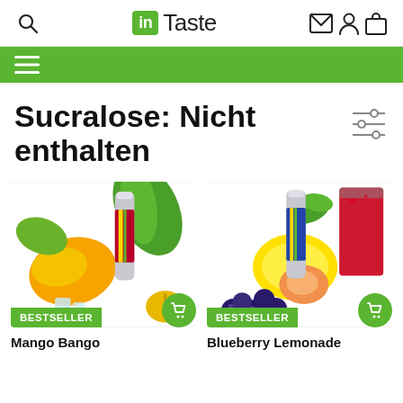inTaste — search, mail, user, cart icons
≡ (hamburger menu)
Sucralose: Nicht enthalten
[Figure (photo): Product photo: Mango Bango vape bottle with mango and pineapple fruits, BESTSELLER badge and cart button]
[Figure (photo): Product photo: Blueberry Lemonade vape bottle with lemon, peach, blueberries and red drink, BESTSELLER badge and cart button]
Mango Bango
Blueberry Lemonade